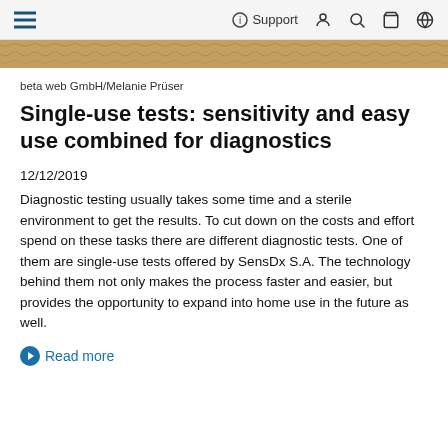☰  ⓘ Support  👤  🔍  🛒  🌐
[Figure (photo): Hero image strip showing a wooden texture background in brown/gold tones]
beta web GmbH/Melanie Prüser
Single-use tests: sensitivity and easy use combined for diagnostics
12/12/2019
Diagnostic testing usually takes some time and a sterile environment to get the results. To cut down on the costs and effort spend on these tasks there are different diagnostic tests. One of them are single-use tests offered by SensDx S.A. The technology behind them not only makes the process faster and easier, but provides the opportunity to expand into home use in the future as well.
➤ Read more